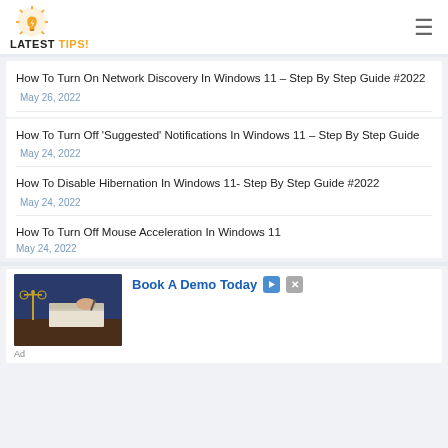LATEST TIPS!
How To Turn On Network Discovery In Windows 11 – Step By Step Guide #2022 May 26, 2022
How To Turn Off 'Suggested' Notifications In Windows 11 – Step By Step Guide May 24, 2022
How To Disable Hibernation In Windows 11- Step By Step Guide #2022 May 24, 2022
How To Turn Off Mouse Acceleration In Windows 11 May 24, 2022
[Figure (photo): Advertisement showing legal scales and person writing, with 'Book A Demo Today' call to action]
Ad